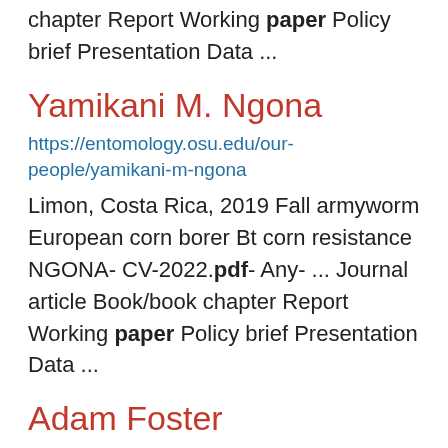chapter Report Working paper Policy brief Presentation Data ...
Yamikani M. Ngona
https://entomology.osu.edu/our-people/yamikani-m-ngona
Limon, Costa Rica, 2019 Fall armyworm European corn borer Bt corn resistance NGONA- CV-2022.pdf- Any- ... Journal article Book/book chapter Report Working paper Policy brief Presentation Data ...
Adam Foster
https://entomology.osu.edu/our-people/adam-foster
AdamFoster_CV.pdf- Any- Journal article